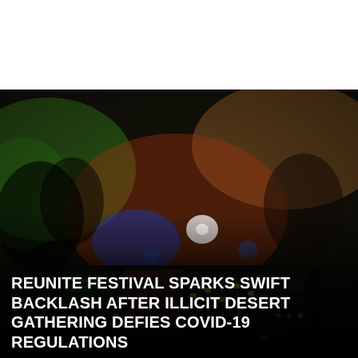[Figure (photo): Close-up photo of a DJ mixing console/turntable with colorful lights (green, red, blue) in a dark nightclub environment. A person's hands or silhouette is visible in the background. The image has a dark, moody atmosphere with bokeh lighting effects.]
REUNITE FESTIVAL SPARKS SWIFT BACKLASH AFTER ILLICIT DESERT GATHERING DEFIES COVID-19 REGULATIONS